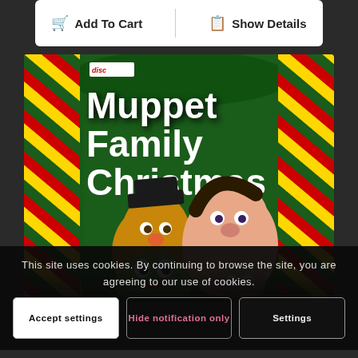Add To Cart
Show Details
[Figure (photo): Album cover for 'Muppet Family Christmas' featuring Muppet characters including Fozzie Bear, Kermit the Frog, Miss Piggy, and others against a green and red diagonal stripe background. A small 'disc' logo appears in the upper left.]
This site uses cookies. By continuing to browse the site, you are agreeing to our use of cookies.
Accept settings
Hide notification only
Settings